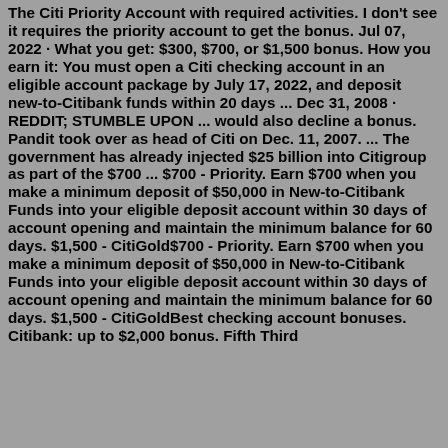The Citi Priority Account with required activities. I don't see it requires the priority account to get the bonus. Jul 07, 2022 · What you get: $300, $700, or $1,500 bonus. How you earn it: You must open a Citi checking account in an eligible account package by July 17, 2022, and deposit new-to-Citibank funds within 20 days ... Dec 31, 2008 · REDDIT; STUMBLE UPON ... would also decline a bonus. Pandit took over as head of Citi on Dec. 11, 2007. ... The government has already injected $25 billion into Citigroup as part of the $700 ... $700 - Priority. Earn $700 when you make a minimum deposit of $50,000 in New-to-Citibank Funds into your eligible deposit account within 30 days of account opening and maintain the minimum balance for 60 days. $1,500 - CitiGold$700 - Priority. Earn $700 when you make a minimum deposit of $50,000 in New-to-Citibank Funds into your eligible deposit account within 30 days of account opening and maintain the minimum balance for 60 days. $1,500 - CitiGoldBest checking account bonuses. Citibank: up to $2,000 bonus. Fifth Third